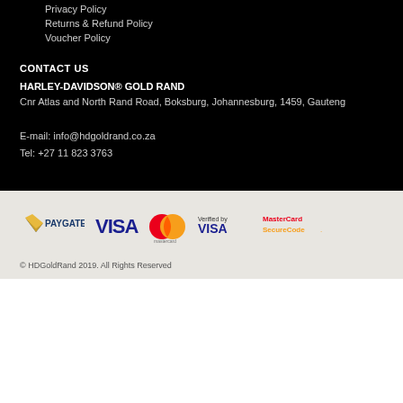Privacy Policy
Returns & Refund Policy
Voucher Policy
CONTACT US
HARLEY-DAVIDSON® GOLD RAND
Cnr Atlas and North Rand Road, Boksburg, Johannesburg, 1459, Gauteng
E-mail: info@hdgoldrand.co.za
Tel: +27 11 823 3763
[Figure (logo): Payment logos: Paygate, Visa, Mastercard, Verified by Visa, MasterCard SecureCode]
© HDGoldRand 2019. All Rights Reserved